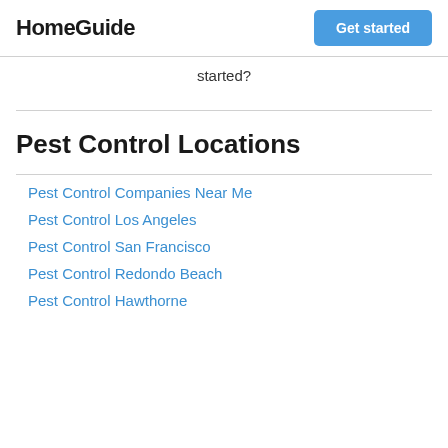HomeGuide
started?
Pest Control Locations
Pest Control Companies Near Me
Pest Control Los Angeles
Pest Control San Francisco
Pest Control Redondo Beach
Pest Control Hawthorne